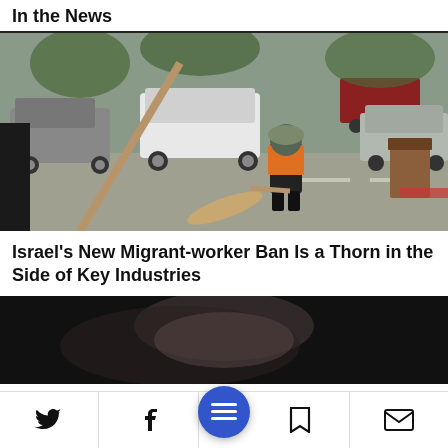In the News
[Figure (photo): Street worker in orange safety vest sweeping a parking lot with a broom, cars parked in the background.]
Israel's New Migrant-worker Ban Is a Thorn in the Side of Key Industries
[Figure (photo): Partially visible photograph with dark background, appears to show a person.]
Twitter, Facebook, Menu, Bookmark, Email icons